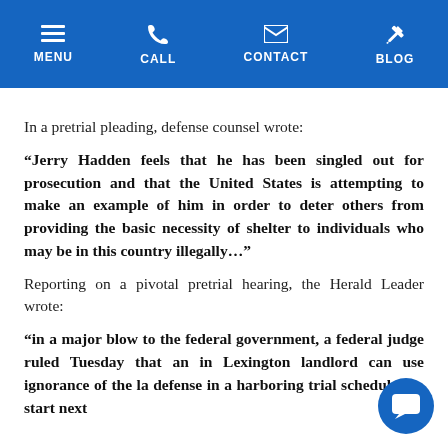MENU  CALL  CONTACT  BLOG
In a pretrial pleading, defense counsel wrote:
“Jerry Hadden feels that he has been singled out for prosecution and that the United States is attempting to make an example of him in order to deter others from providing the basic necessity of shelter to individuals who may be in this country illegally…”
Reporting on a pivotal pretrial hearing, the Herald Leader wrote:
“in a major blow to the federal government, a federal judge ruled Tuesday that an in Lexington landlord can use ignorance of the la defense in a harboring trial scheduled to start next